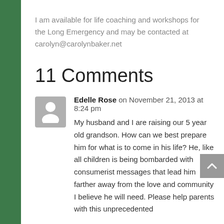I am available for life coaching and workshops for the Long Emergency and may be contacted at carolyn@carolynbaker.net
11 Comments
Edelle Rose on November 21, 2013 at 8:24 pm
My husband and I are raising our 5 year old grandson. How can we best prepare him for what is to come in his life? He, like all children is being bombarded with consumerist messages that lead him farther away from the love and community I believe he will need. Please help parents with this unprecedented